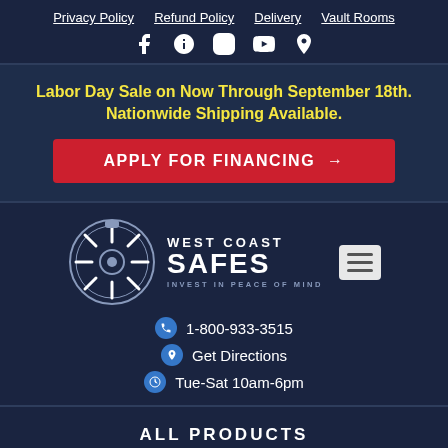Privacy Policy  Refund Policy  Delivery  Vault Rooms
[Figure (other): Social media icons: Facebook, Yelp, Instagram, YouTube, Location pin]
Labor Day Sale on Now Through September 18th. Nationwide Shipping Available.
APPLY FOR FINANCING →
[Figure (logo): West Coast Safes logo with safe dial illustration and tagline INVEST IN PEACE OF MIND, with hamburger menu icon]
1-800-933-3515
Get Directions
Tue-Sat 10am-6pm
ALL PRODUCTS